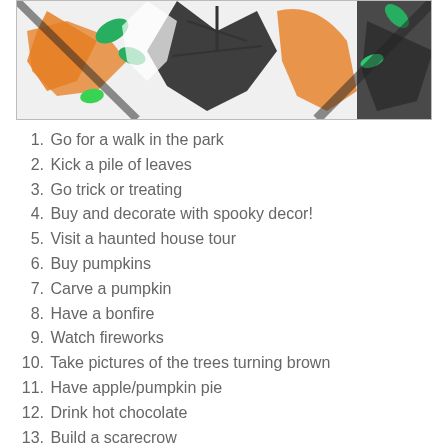[Figure (photo): Halloween decorations photo showing colorful spooky decor including orange, green, and black skeleton/spider decorations on white background]
1. Go for a walk in the park
2. Kick a pile of leaves
3. Go trick or treating
4. Buy and decorate with spooky decor!
5. Visit a haunted house tour
6. Buy pumpkins
7. Carve a pumpkin
8. Have a bonfire
9. Watch fireworks
10. Take pictures of the trees turning brown
11. Have apple/pumpkin pie
12. Drink hot chocolate
13. Build a scarecrow
14. Scary movies marathon